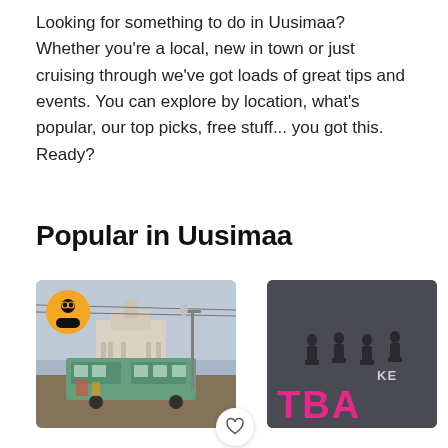Looking for something to do in Uusimaa? Whether you're a local, new in town or just cruising through we've got loads of great tips and events. You can explore by location, what's popular, our top picks, free stuff... you got this. Ready?
Popular in Uusimaa
[Figure (photo): Helsinki tram and cathedral scene with an orange circular tour guide badge overlay in lower left, and a heart/favorite button in the lower right corner]
[Figure (photo): Partially visible dark grey image with silhouettes of people sitting, with pink/magenta text reading 'TBA' and partial text 'KE' visible]
Helsinki Walking Tour With A...
Kenttätyön tekijöitä...